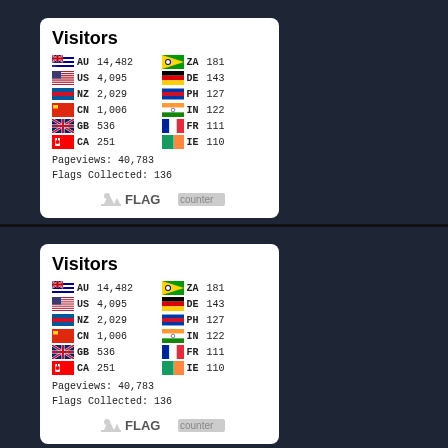[Figure (infographic): Flag Counter widget showing visitor statistics by country. Lists AU 14,482 / US 4,095 / NZ 2,029 / CN 1,006 / GB 536 / CA 251 on left column and ZA 181 / DE 143 / PH 127 / IN 122 / FR 111 / IE 110 on right column. Pageviews: 40,783. Flags Collected: 136. FLAG counter logo at bottom.]
[Figure (infographic): Duplicate Flag Counter widget showing the same visitor statistics. AU 14,482 / US 4,095 / NZ 2,029 / CN 1,006 / GB 536 / CA 251 and ZA 181 / DE 143 / PH 127 / IN 122 / FR 111 / IE 110. Pageviews: 40,783. Flags Collected: 136.]